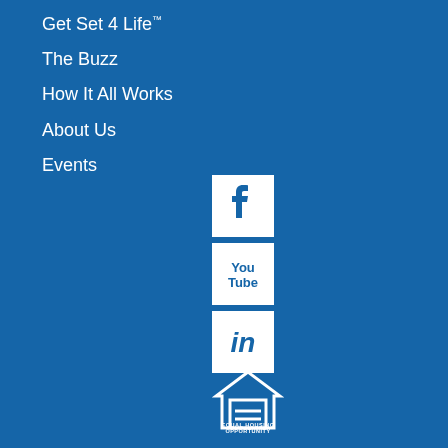Get Set 4 Life™
The Buzz
How It All Works
About Us
Events
[Figure (logo): Facebook icon - white F on white square background with blue border]
[Figure (logo): YouTube icon - white YouTube text on white square background]
[Figure (logo): LinkedIn icon - white 'in' on white square background]
[Figure (logo): Equal Housing Opportunity logo - house with equals sign and text]
[Figure (logo): Paw print icon in white]